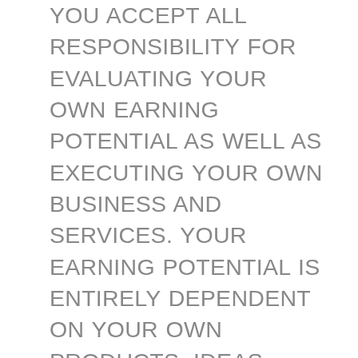YOU ACCEPT ALL RESPONSIBILITY FOR EVALUATING YOUR OWN EARNING POTENTIAL AS WELL AS EXECUTING YOUR OWN BUSINESS AND SERVICES. YOUR EARNING POTENTIAL IS ENTIRELY DEPENDENT ON YOUR OWN PRODUCTS, IDEAS, TECHNIQUES; YOUR EXECUTION OF YOUR BUSINESS PLAN; THE TIME YOU DEVOTE TO THE PROGRAM, IDEAS AND TECHNIQUES OFFERED AND UTILIZED; AS WELL AS YOUR FINANCES, YOUR KNOWLEDGE AND YOUR SKILL. SINCE THESE FACTORS DIFFER AMONG ALL INDIVIDUALS, THE